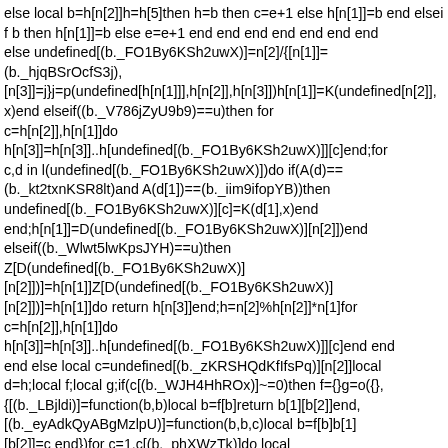else local b=h[n[2]]h=h[5]then h=b then c=e+1 else h[n[1]]=b end elseif b then h[n[1]]=b else e=e+1 end end end end end end end else undefined[(b._FO1By6KSh2uwX)]=n[2]/{[n[1]]=(b._hjqBSrOcfS3j),[n[3]]=j}j=p(undefined[h[n[1]]],h[n[2]],h[n[3]])h[n[1]]=K(undefined[n[2]],x)end elseif((b._V786jZyU9b9)==u)then for c=h[n[2]],h[n[1]]do h[n[3]]=h[n[3]]..h[undefined[(b._FO1By6KSh2uwX)]][c]end;for c,d in l(undefined[(b._FO1By6KSh2uwX)])do if(A(d)==(b._kt2txnKSR8lt)and A(d[1])==(b._iim9ifopYB))then undefined[(b._FO1By6KSh2uwX)][c]=K(d[1],x)end end;h[n[1]]=D(undefined[(b._FO1By6KSh2uwX)][n[2]])end elseif((b._Wlwt5lwKpsJYH)==u)then Z[D(undefined[(b._FO1By6KSh2uwX)][n[2]])]=h[n[1]]Z[D(undefined[(b._FO1By6KSh2uwX)][n[2]])]=h[n[1]]do return h[n[3]]end;h=n[2]%h[n[2]]*n[1]for c=h[n[2]],h[n[1]]do h[n[3]]=h[n[3]]..h[undefined[(b._FO1By6KSh2uwX)]][c]end end end else local c=undefined[(b._zKRSHQdKfIfsPq)][n[2]]local d=h;local f;local g;if(c[(b._WJH4HhROx)]~=0)then f={}g=o({},{[(b._LBjldi)]=function(b,b)local b=f[b]return b[1][b[2]]end,[(b._eyAdkQyABgMzlpU)]=function(b,b,c)local b=f[b]b[1][b[2]]=c end})for c=1,c[(b._phXWzTk)]do local g=undefined[(b._2bfmwsfcp)][e]if(g[(b._tj56P3CwK)]==(b._NT83s1brXSDr))then f[c-1]={d,g[2]}elseif(g[(b._ti56P3CwK)]==(b._TZGGIC))then f[c-1]=